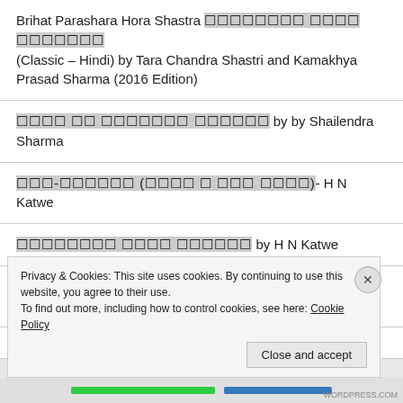Brihat Parashara Hora Shastra [Hindi text] (Classic – Hindi) by Tara Chandra Shastri and Kamakhya Prasad Sharma (2016 Edition)
[Hindi text] by by Shailendra Sharma
[Hindi text] - H N Katwe
[Hindi text] by H N Katwe
Lal Kitab ke Farman 1939 [Hindi text] by Haresh Pancholi
[partial, cropped]
Privacy & Cookies: This site uses cookies. By continuing to use this website, you agree to their use. To find out more, including how to control cookies, see here: Cookie Policy
Close and accept